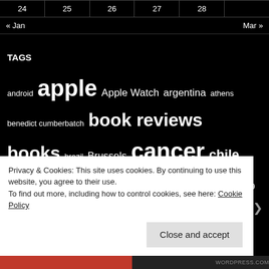| 24 | 25 | 26 | 27 | 28 |
| --- | --- | --- | --- | --- |
« Jan    Mar »
TAGS
android apple Apple Watch argentina athens benedict cumberbatch book reviews books brazil Brussels cancer chile cinema College comics Copenhagen covid-19 Danube Doctor Who Facebook film reviews free-to-play game of thrones games Google Greece Health history iceland iOS ipad iphone ireland Italy Japan joss whedon la silla life Lucifer MacBook Air Marvel Marvel Studios mass effect movies museum naomi novik Neil Gaiman nimblebit Northern Ireland Pebble politics
Privacy & Cookies: This site uses cookies. By continuing to use this website, you agree to their use. To find out more, including how to control cookies, see here: Cookie Policy
Close and accept